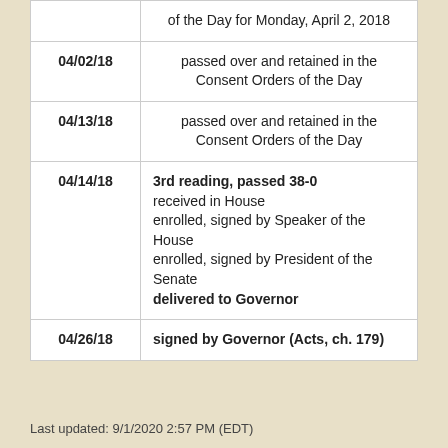| Date | Action |
| --- | --- |
|  | of the Day for Monday, April 2, 2018 |
| 04/02/18 | passed over and retained in the Consent Orders of the Day |
| 04/13/18 | passed over and retained in the Consent Orders of the Day |
| 04/14/18 | 3rd reading, passed 38-0
received in House
enrolled, signed by Speaker of the House
enrolled, signed by President of the Senate
delivered to Governor |
| 04/26/18 | signed by Governor (Acts, ch. 179) |
Last updated: 9/1/2020 2:57 PM (EDT)